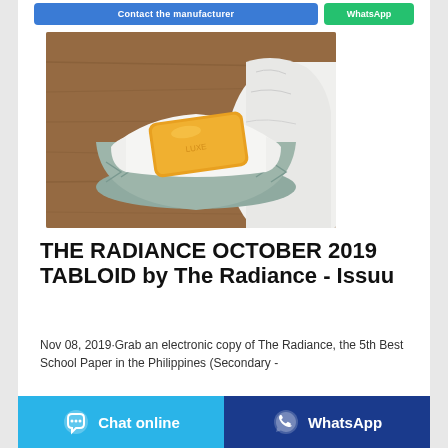[Figure (other): Top partial UI showing 'Contact the manufacturer' blue button and 'WhatsApp' green button]
[Figure (photo): Photo of a yellow soap bar placed in a decorative ceramic bowl lined with white cloth, on a wooden surface]
THE RADIANCE OCTOBER 2019 TABLOID by The Radiance - Issuu
Nov 08, 2019·Grab an electronic copy of The Radiance, the 5th Best School Paper in the Philippines (Secondary -
[Figure (other): Bottom UI bar: 'Chat online' cyan button on left and 'WhatsApp' dark blue button on right]